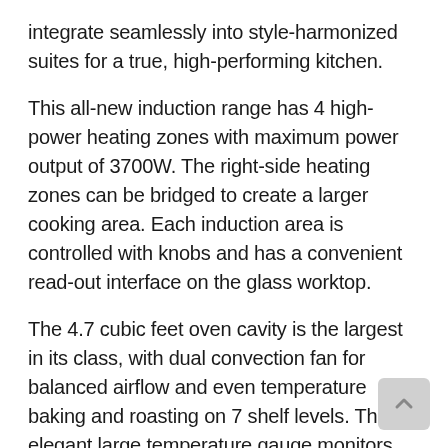integrate seamlessly into style-harmonized suites for a true, high-performing kitchen.
This all-new induction range has 4 high-power heating zones with maximum power output of 3700W. The right-side heating zones can be bridged to create a larger cooking area. Each induction area is controlled with knobs and has a convenient read-out interface on the glass worktop.
The 4.7 cubic feet oven cavity is the largest in its class, with dual convection fan for balanced airflow and even temperature baking and roasting on 7 shelf levels. The elegant large temperature gauge monitors the actual temperature in the oven. The extra wide electric broiler with optional convection is ideal for grilling and searing at high heat. The oven includes convenient soft-motion doors. The edge-to-edge interior